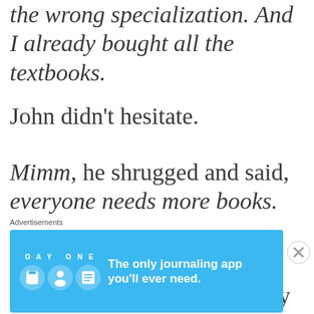the wrong specialization. And I already bought all the textbooks.
John didn't hesitate.
Mimm, he shrugged and said, everyone needs more books.
It was as simple as that. Spending a little extra money (even money that I don't have) on a few more books is better than being tied to a specialization that
Advertisements
[Figure (illustration): Day One journaling app advertisement banner with blue background, app icon figures, and text 'The only journaling app you'll ever need.']